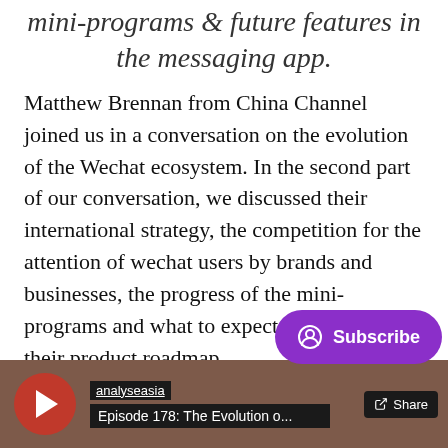mini-programs & future features in the messaging app.
Matthew Brennan from China Channel joined us in a conversation on the evolution of the Wechat ecosystem. In the second part of our conversation, we discussed their international strategy, the competition for the attention of wechat users by brands and businesses, the progress of the mini-programs and what to expect this year in their product roadmap.
[Figure (screenshot): Video player bar showing analyseasia channel, Episode 178: The Evolution o... with a red play button, share button, and purple Subscribe button overlay.]